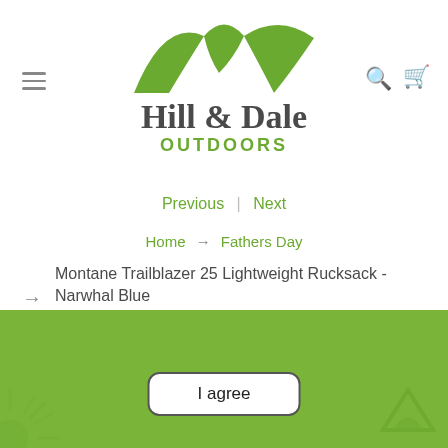[Figure (logo): Hill & Dale Outdoors logo with green mountain peaks above stylized text]
Previous | Next
Home → Fathers Day
Montane Trailblazer 25 Lightweight Rucksack - Narwhal Blue
We use cookies on our website to give you the best shopping experience. By using this site, you agree to its use of cookies.
I agree